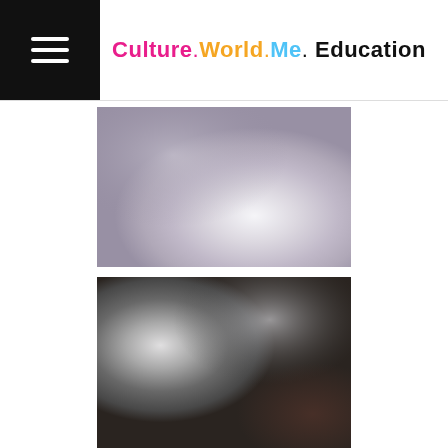Culture.World.Me. Education
[Figure (photo): Blurred abstract photograph with soft lavender, grey, and white light tones, resembling an out-of-focus interior scene.]
[Figure (photo): Blurred abstract photograph with dark grey and brown tones with bright white light area on the left side, resembling a dimly lit interior scene.]